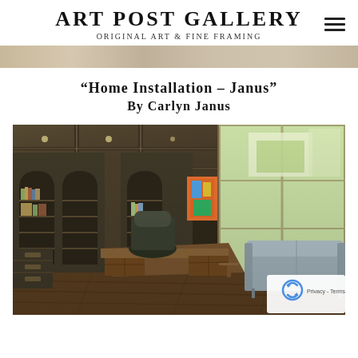Art Post Gallery — Original Art & Fine Framing
[Figure (photo): Decorative banner/texture strip in beige/tan tones]
“Home Installation – Janus” By Carlyn Janus
[Figure (photo): Interior photo of an elegant home office with dark wood built-in bookshelves, coffered ceiling, a large wood desk with leather chair, a light blue sofa, hardwood flooring, and large windows with natural light. A colorful artwork is visible between the windows and bookshelves.]